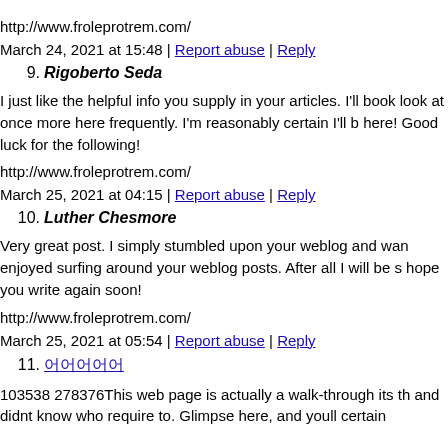http://www.froleprotrem.com/
March 24, 2021 at 15:48 | Report abuse | Reply
9. Rigoberto Seda
I just like the helpful info you supply in your articles. I'll book look at once more here frequently. I'm reasonably certain I'll b here! Good luck for the following!
http://www.froleprotrem.com/
March 25, 2021 at 04:15 | Report abuse | Reply
10. Luther Chesmore
Very great post. I simply stumbled upon your weblog and wan enjoyed surfing around your weblog posts. After all I will be s hope you write again soon!
http://www.froleprotrem.com/
March 25, 2021 at 05:54 | Report abuse | Reply
11. 어어어어어
103538 278376This web page is actually a walk-through its th and didnt know who require to. Glimpse here, and youll certain